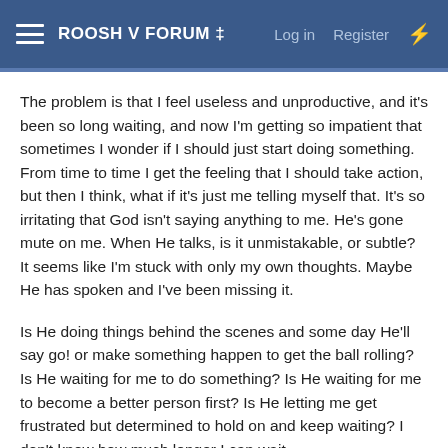ROOSH V FORUM ‡   Log in   Register
The problem is that I feel useless and unproductive, and it's been so long waiting, and now I'm getting so impatient that sometimes I wonder if I should just start doing something. From time to time I get the feeling that I should take action, but then I think, what if it's just me telling myself that. It's so irritating that God isn't saying anything to me. He's gone mute on me. When He talks, is it unmistakable, or subtle? It seems like I'm stuck with only my own thoughts. Maybe He has spoken and I've been missing it.
Is He doing things behind the scenes and some day He'll say go! or make something happen to get the ball rolling? Is He waiting for me to do something? Is He waiting for me to become a better person first? Is He letting me get frustrated but determined to hold on and keep waiting? I don't know how much longer I can wait.
I've asked Him so many times to give me some clue as to which